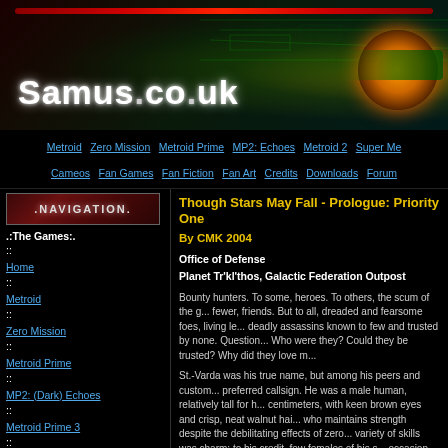[Figure (illustration): Samus.co.uk website banner with dark sci-fi imagery, red accent bar, white Samus.co.uk logo text, and orange/green glowing orb on the right]
Metroid  Zero Mission  Metroid Prime  MP2: Echoes  Metroid 2  Super Me... Cameos  Fan Games  Fan Fiction  Fan Art  Credits  Downloads  Forum...
[Figure (logo): Navigation banner image with dark red background and .NAVIGATION. text]
.:The Games:.
:: Home
:: Metroid
:: Zero Mission
:: Metroid Prime
:: MP2: (Dark) Echoes
:: Metroid Prime 3
:: Metroid 2
:: Super Metroid
:: Metroid Fusion
:: Metroid Prime Hunters
:: Metroid Prime Pinball
:: Cameos
:: Metroid Prime 2D
.:SCU Community:.
:: Forum
:: IRC Chat (Link)
:: IRC Chat (Guide)
.:Fan Work:.
:: Soundtrack Remixes
:: Fan Fiction
:: Fan Games
:: Fan Art
Though Stars May Fall - Prologue: Priority One
By CMK 2004
Office of Defense
Planet Tr'kl'thos, Galactic Federation Outpost
Bounty hunters. To some, heroes. To others, the scum of the u... fewer, friends. But to all, dreaded and fearsome foes, living le... deadly assassins known to few and trusted by none. Question... Who were they? Could they be trusted? Why did they love m...
St.-Varda was his true name, but among his peers and custom... preferred callsign. He was a male human, relatively tall for h... centimeters, with keen brown eyes and crisp, neat walnut hai... who maintains strength despite the debilitating effects of zero... variety of skills was charm; to his credit, few females of his s... occasion, he wore a slightly threadbare military uniform and
Opposite him was the Galactic Federation's Commissar for D... commissar's office, a simple, small room lined with metallic ... relationship to business. Which happened to be what they we... to the point. "What do you know about the planet Noriath, M
St.-Varda, seated across from the commissar in a simple fold...